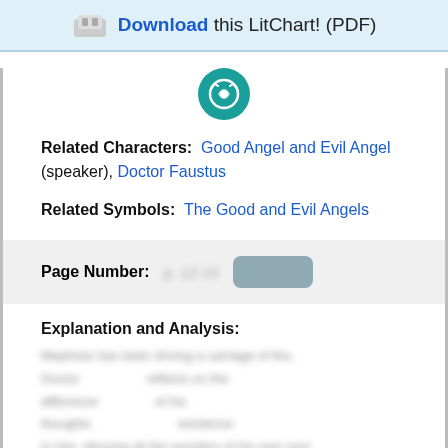Download this LitChart! (PDF)
[Figure (logo): Teal circular icon with headphones/music symbol]
Related Characters: Good Angel and Evil Angel (speaker), Doctor Faustus
Related Symbols: The Good and Evil Angels
Page Number: [blurred] [blurred pill]
Explanation and Analysis:
[blurred explanation text]
Unlock with LitCharts A+